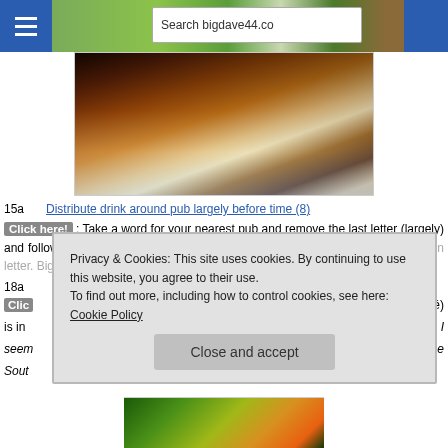Search bigdave44.co
[Figure (photo): Food photo showing pastry or eclair with dark chocolate sauce on a white plate]
15a    Distribute drink around pub largely before time (8)
Click here!: Take a word for your nearest pub and remove the last letter (largely) and follow with T(ime). Around this put one of the usual drinks letters for a certain letter. Big Dav...
18a
Clic... oué) is in... of. I seem... n the Sou...
Privacy & Cookies: This site uses cookies. By continuing to use this website, you agree to their use.
To find out more, including how to control cookies, see here: Cookie Policy
Close and accept
[Figure (photo): Close-up photo of a colorful flower or bird, green and orange/yellow tones]